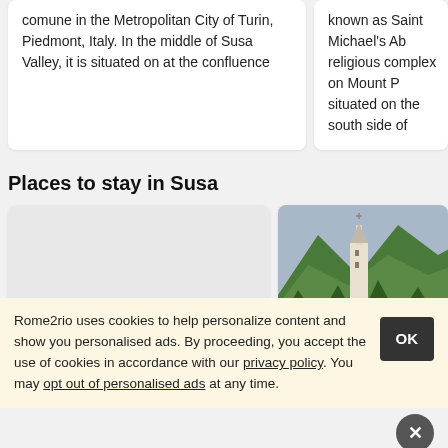comune in the Metropolitan City of Turin, Piedmont, Italy. In the middle of Susa Valley, it is situated on at the confluence
known as Saint Michael's Ab... religious complex on Mount P... situated on the south side of
Places to stay in Susa
[Figure (photo): Gray placeholder image for Agriturismo Agricola San hotel]
Agriturismo Agricola San
[Figure (photo): Photo of La Via Del Sole hotel showing a church tower against green mountains, price badge $55]
La Via Del Sole
Rome2rio uses cookies to help personalize content and show you personalised ads. By proceeding, you accept the use of cookies in accordance with our privacy policy. You may opt out of personalised ads at any time.